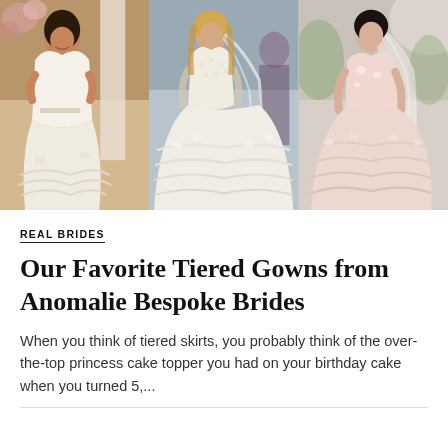[Figure (photo): Three brides in white wedding gowns side by side. Left: mermaid style off-shoulder gown. Center: princess ball gown with lace bodice and voluminous tiered tulle skirt. Right: blush pink ball gown with floral appliqués and veil.]
REAL BRIDES
Our Favorite Tiered Gowns from Anomalie Bespoke Brides
When you think of tiered skirts, you probably think of the over-the-top princess cake topper you had on your birthday cake when you turned 5,...